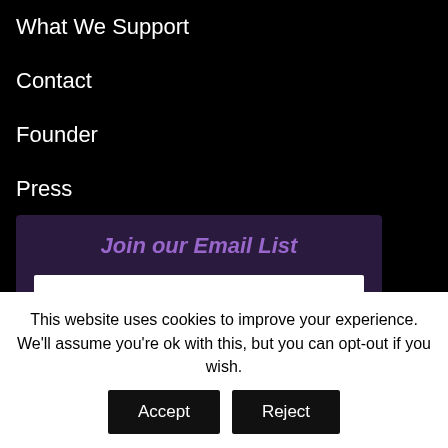What We Support
Contact
Founder
Press
Join our Email List
Name
This website uses cookies to improve your experience. We'll assume you're ok with this, but you can opt-out if you wish.
Accept
Reject